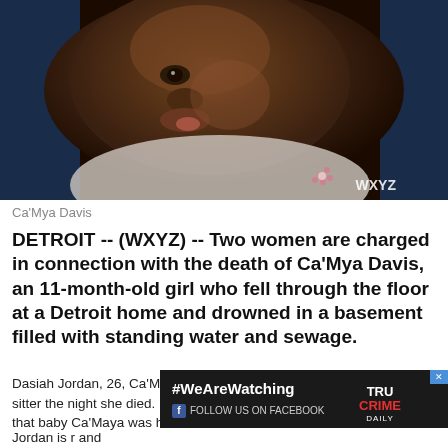[Figure (photo): Close-up photo of baby Ca'Mya Davis, a newborn infant, with WXYZ watermark in bottom right corner]
Ca'Mya Davis
DETROIT -- (WXYZ) -- Two women are charged in connection with the death of Ca'Mya Davis, an 11-month-old girl who fell through the floor at a Detroit home and drowned in a basement filled with standing water and sewage.
Dasiah Jordan, 26, Ca'Mya's mother, claimed her kids were left with a sitter the night she died. Prosecutors are now telling a different story, that baby Ca'Maya was home alone when she
[Figure (screenshot): Advertisement banner for True Crime Daily with #WeAreWatching and Facebook follow text on dark background]
Jordan is